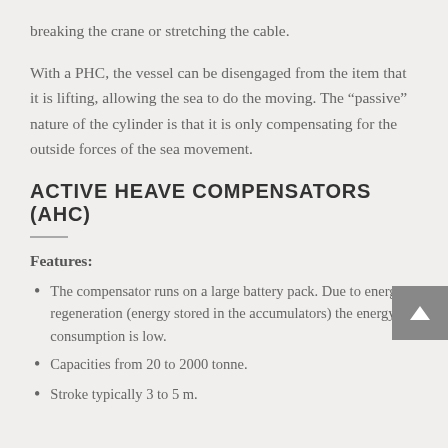breaking the crane or stretching the cable.
With a PHC, the vessel can be disengaged from the item that it is lifting, allowing the sea to do the moving. The “passive” nature of the cylinder is that it is only compensating for the outside forces of the sea movement.
ACTIVE HEAVE COMPENSATORS (AHC)
Features:
The compensator runs on a large battery pack. Due to energy regeneration (energy stored in the accumulators) the energy consumption is low.
Capacities from 20 to 2000 tonne.
Stroke typically 3 to 5 m.